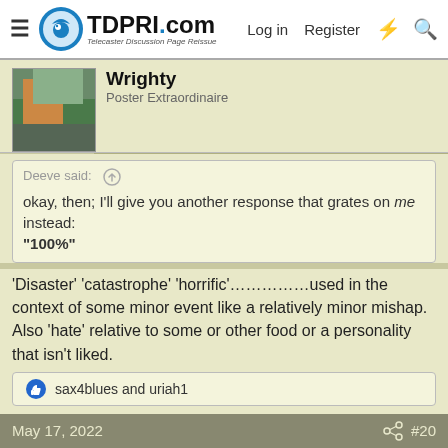TDPRI.com - Telecaster Discussion Page Reissue | Log in | Register
Wrighty
Poster Extraordinaire
Deeve said: ↑
okay, then; I'll give you another response that grates on me instead:
"100%"
'Disaster' 'catastrophe' 'horrific'…………..used in the context of some minor event like a relatively minor mishap. Also 'hate' relative to some or other food or a personality that isn't liked.
👍 sax4blues and uriah1
May 17, 2022  #20
uriah1
Telefied  Gold Supporter